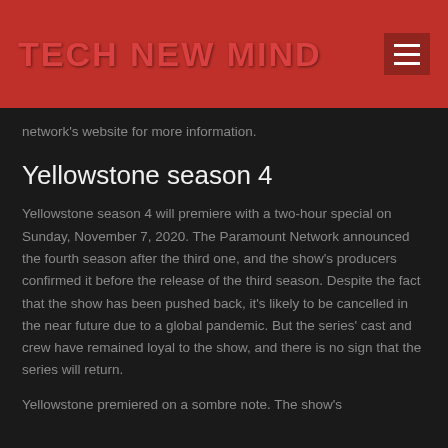TECH NEW MIND
network's website for more information.
Yellowstone season 4
Yellowstone season 4 will premiere with a two-hour special on Sunday, November 7, 2020. The Paramount Network announced the fourth season after the third one, and the show's producers confirmed it before the release of the third season. Despite the fact that the show has been pushed back, it's likely to be cancelled in the near future due to a global pandemic. But the series' cast and crew have remained loyal to the show, and there is no sign that the series will return.
Yellowstone premiered on a sombre note. The show's